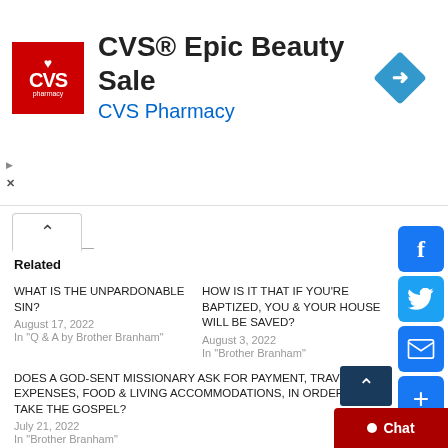[Figure (infographic): CVS Pharmacy advertisement banner with red logo, text 'CVS® Epic Beauty Sale', subtitle 'CVS Pharmacy' in blue, and a blue diamond direction arrow icon on the right]
[Figure (infographic): Social media share buttons sidebar on the right: Facebook (f), Twitter bird, Email envelope, Plus/share]
Related
WHAT IS THE UNPARDONABLE SIN?
August 17, 2022
In "Q & A by Brother Branham"
HOW IS IT THAT IF YOU'RE BAPTIZED, YOU & YOUR HOUSE WILL BE SAVED?
August 3, 2022
In "Brother Branham"
DOES A GOD-SENT MISSIONARY ASK FOR PAYMENT, TRAVELING EXPENSES, FOOD & LIVING ACCOMMODATIONS, IN ORDER TO TAKE THE GOSPEL?
July 21, 2022
In "Brother Branham"